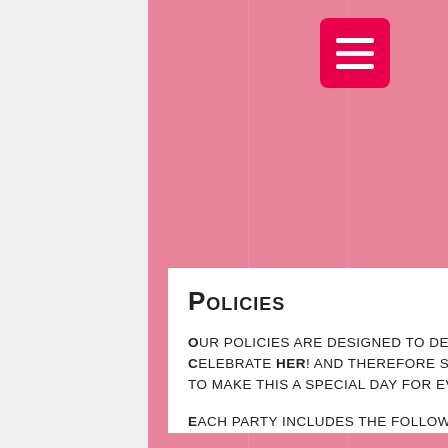[Figure (other): Pink wooden panel background with vertical plank lines]
[Figure (other): Hot pink hamburger menu button with three white horizontal bars]
Policies
Our policies are designed to deliver a sensational party for the guest of honor.  We Celebrate HER! and therefore strictly adhere to the following practices in order to make this a special day for everyone involved...
Each party includes the following: 9 guests + the birthday